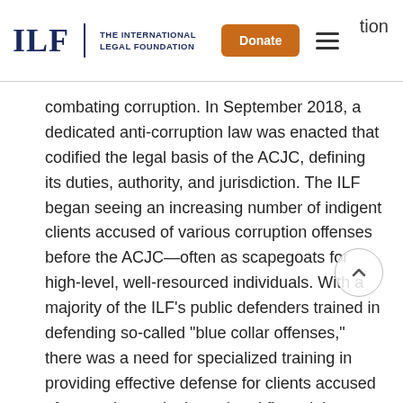ILF | THE INTERNATIONAL LEGAL FOUNDATION | Donate | tion
combating corruption. In September 2018, a dedicated anti-corruption law was enacted that codified the legal basis of the ACJC, defining its duties, authority, and jurisdiction. The ILF began seeing an increasing number of indigent clients accused of various corruption offenses before the ACJC—often as scapegoats for high-level, well-resourced individuals. With a majority of the ILF’s public defenders trained in defending so-called “blue collar offenses,” there was a need for specialized training in providing effective defense for clients accused of corruption and other related financial